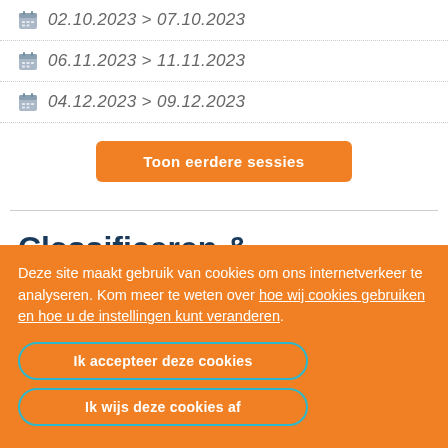02.10.2023 > 07.10.2023
06.11.2023 > 11.11.2023
04.12.2023 > 09.12.2023
Toon eerdere sessies
Classificeren & beoordelen
Deze site maakt gebruik van cookies om ons internetverkeer te analyseren. Kom meer te weten over hoe wij cookies gebruiken en hoe u de instellingen kunt veranderen.
Ik accepteer deze cookies
Ik wijs deze cookies af